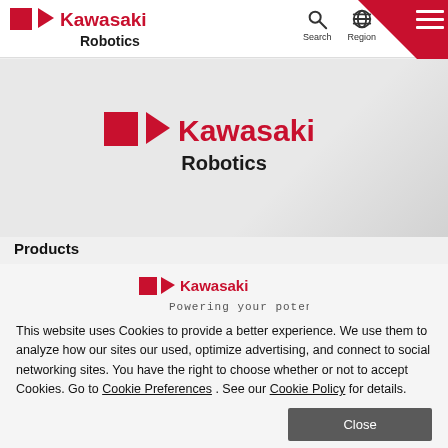[Figure (logo): Kawasaki Robotics logo in header bar (red square, K arrow, Kawasaki in red, Robotics in black)]
[Figure (screenshot): Search and Region navigation icons with labels in header]
[Figure (logo): Kawasaki Robotics large logo centered in grey hero section]
Products
[Figure (logo): Kawasaki Robotics logo with tagline 'Powering your potential' in cookie overlay]
This website uses Cookies to provide a better experience. We use them to analyze how our sites our used, optimize advertising, and connect to social networking sites. You have the right to choose whether or not to accept Cookies. Go to Cookie Preferences . See our Cookie Policy for details.
Close